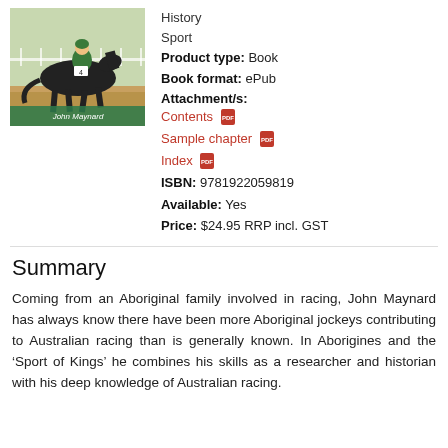[Figure (photo): A jockey on a dark horse racing on a track, with 'John Maynard' text overlay at the bottom of the image]
History
Sport
Product type: Book
Book format: ePub
Attachment/s:
Contents [PDF icon]
Sample chapter [PDF icon]
Index [PDF icon]
ISBN: 9781922059819
Available: Yes
Price: $24.95 RRP incl. GST
Summary
Coming from an Aboriginal family involved in racing, John Maynard has always know there have been more Aboriginal jockeys contributing to Australian racing than is generally known. In Aborigines and the ‘Sport of Kings’ he combines his skills as a researcher and historian with his deep knowledge of Australian racing.